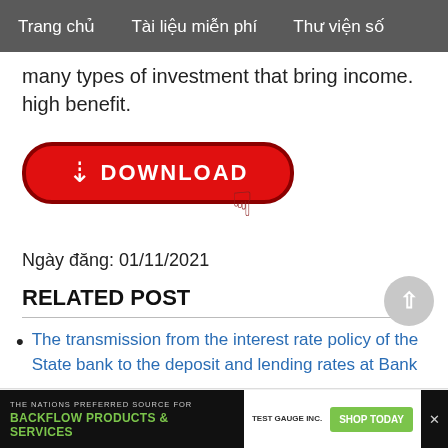Trang chủ   Tài liệu miễn phí   Thư viện số
many types of investment that bring income. high benefit.
[Figure (other): Red download button with download icon and text 'DOWNLOAD', with a cursor/hand pointer icon to the right]
Ngày đăng: 01/11/2021
RELATED POST
The transmission from the interest rate policy of the State bank to the deposit and lending rates at Bank
Agriculture and Rural Development of Vietnam - 1
[Figure (other): Advertisement banner: THE NATIONS PREFERRED SOURCE FOR BACKFLOW PRODUCTS & SERVICES, TEST GAUGE INC, SHOP TODAY]